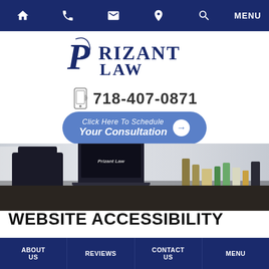Navigation bar with home, phone, mail, location, search icons and MENU
[Figure (logo): Prizant Law logo in navy blue serif/script font]
718-407-0871
Click Here To Schedule Your Consultation
[Figure (photo): Law office desk scene with laptop showing Prizant Law logo, leather chair, and desk items]
WEBSITE ACCESSIBILITY
The Prizant Law ADA theme was designed and developed under the WCAG AA standards to provide optimal viewing experience for most users. Please
ABOUT US | REVIEWS | CONTACT US | MENU